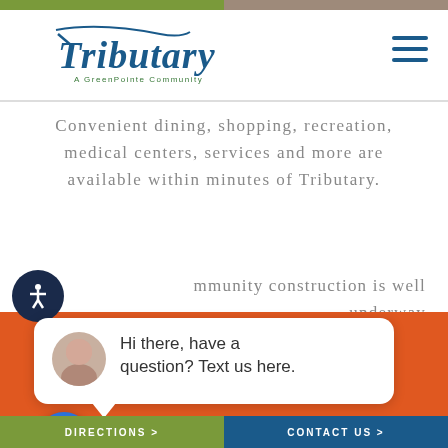[Figure (logo): Tributary - A GreenPointe Community logo in dark blue italic handwritten style]
Convenient dining, shopping, recreation, medical centers, services and more are available within minutes of Tributary.
Community construction is well underway ... or ... re ... the ... r ... sit
[Figure (screenshot): Chat widget popup with avatar photo of woman, text: Hi there, have a question? Text us here. Got it! button in yellow. Blue chat icon button.]
DIRECTIONS >   CONTACT US >